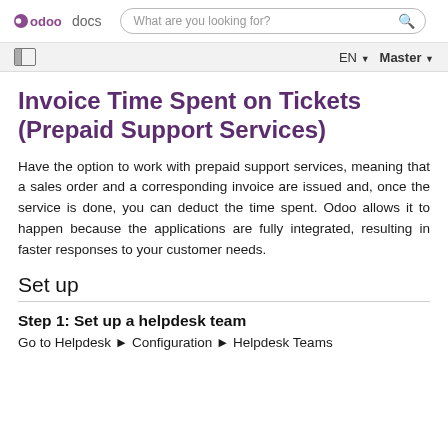odoo docs | What are you looking for? | EN | Master
Invoice Time Spent on Tickets (Prepaid Support Services)
Have the option to work with prepaid support services, meaning that a sales order and a corresponding invoice are issued and, once the service is done, you can deduct the time spent. Odoo allows it to happen because the applications are fully integrated, resulting in faster responses to your customer needs.
Set up
Step 1: Set up a helpdesk team
Go to Helpdesk ▸ Configuration ▸ Helpdesk Teams